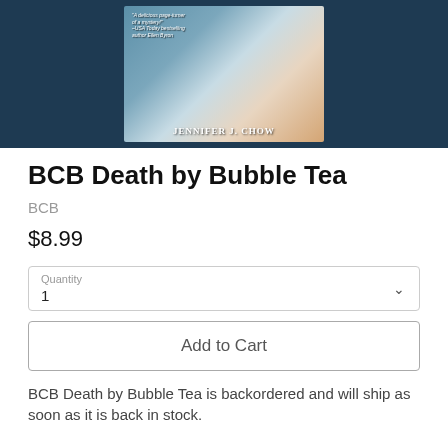[Figure (illustration): Book cover for 'BCB Death by Bubble Tea' by Jennifer J. Chow, shown against a dark navy blue background. The cover features a colorful illustration with text 'A delicious page-turner of a mystery! -USA Today bestselling author Ellen Byron' and the author name 'Jennifer J. Chow' in large letters at the bottom.]
BCB Death by Bubble Tea
BCB
$8.99
Quantity
1
Add to Cart
BCB Death by Bubble Tea is backordered and will ship as soon as it is back in stock.